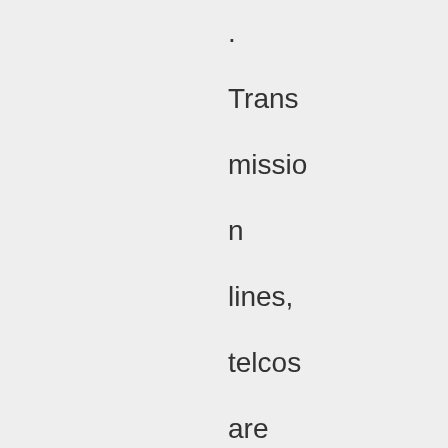. Transmission lines, telcos are avenues for open secrets. What are they talking about